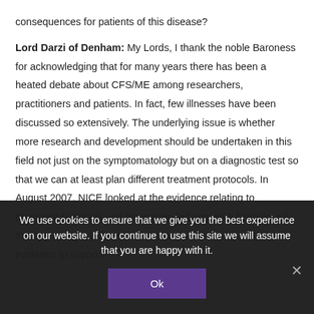consequences for patients of this disease?
Lord Darzi of Denham: My Lords, I thank the noble Baroness for acknowledging that for many years there has been a heated debate about CFS/ME among researchers, practitioners and patients. In fact, few illnesses have been discussed so extensively. The underlying issue is whether more research and development should be undertaken in this field not just on the symptomatology but on a diagnostic test so that we can at least plan different treatment protocols. In August 2007, NICE looked at the evidence relating to treatment protocols and recommended cognitive behavioural therapy and graded exercise therapy, as there was some evidence to support
We use cookies to ensure that we give you the best experience on our website. If you continue to use this site we will assume that you are happy with it.
Ok